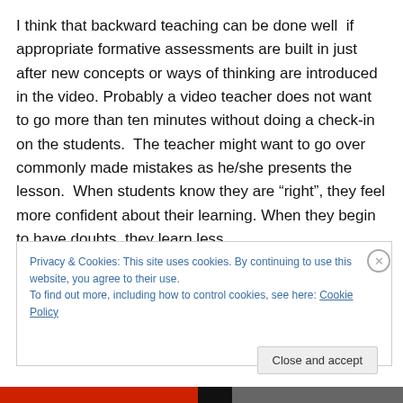I think that backward teaching can be done well  if appropriate formative assessments are built in just after new concepts or ways of thinking are introduced in the video. Probably a video teacher does not want to go more than ten minutes without doing a check-in on the students.  The teacher might want to go over commonly made mistakes as he/she presents the lesson.  When students know they are “right”, they feel more confident about their learning. When they begin to have doubts, they learn less.
Privacy & Cookies: This site uses cookies. By continuing to use this website, you agree to their use.
To find out more, including how to control cookies, see here: Cookie Policy
Close and accept